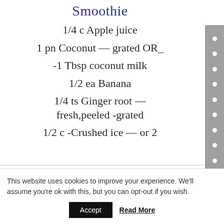Smoothie
1/4 c Apple juice
1 pn Coconut — grated OR_
-1 Tbsp coconut milk
1/2 ea Banana
1/4 ts Ginger root — fresh,peeled -grated
1/2 c -Crushed ice — or 2
This website uses cookies to improve your experience. We'll assume you're ok with this, but you can opt-out if you wish.
Accept   Read More